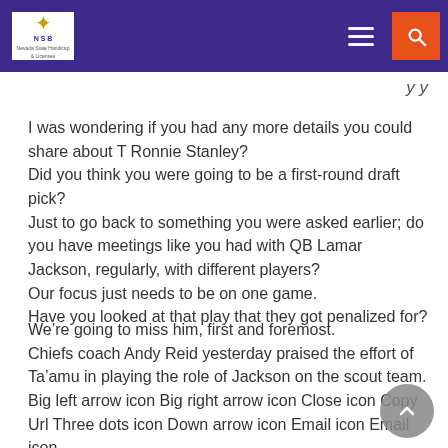NSB logo navigation header
I was wondering if you had any more details you could share about T Ronnie Stanley?
Did you think you were going to be a first-round draft pick?
Just to go back to something you were asked earlier; do you have meetings like you had with QB Lamar Jackson, regularly, with different players?
Our focus just needs to be on one game.
Have you looked at that play that they got penalized for?
We’re going to miss him, first and foremost.
Chiefs coach Andy Reid yesterday praised the effort of Ta’amu in playing the role of Jackson on the scout team.
Big left arrow icon Big right arrow icon Close icon Copy Url Three dots icon Down arrow icon Email icon Email icon